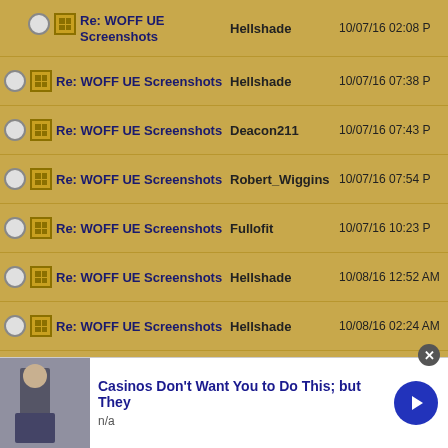Re: WOFF UE Screenshots | Hellshade | 10/07/16 02:08 PM
Re: WOFF UE Screenshots | Hellshade | 10/07/16 07:38 PM
Re: WOFF UE Screenshots | Deacon211 | 10/07/16 07:43 PM
Re: WOFF UE Screenshots | Robert_Wiggins | 10/07/16 07:54 PM
Re: WOFF UE Screenshots | Fullofit | 10/07/16 10:23 PM
Re: WOFF UE Screenshots | Hellshade | 10/08/16 12:52 AM
Re: WOFF UE Screenshots | Hellshade | 10/08/16 02:24 AM
Re: WOFF UE Screenshots | JimBobb | 10/08/16 05:57 AM
Re: WOFF UE Screenshots | JimBobb | 10/08/16 06:02 AM
Re: WOFF UE Screenshots | Hellshade | 10/08/16 11:19 AM
Re: WOFF UE Screenshots | Hellshade | 10/08/16 03:11 PM
Re: WOFF UE S... | Hellshade | 10/08/16 ...
[Figure (screenshot): Ad banner: Casinos Don't Want You to Do This; but They — n/a — with arrow button]